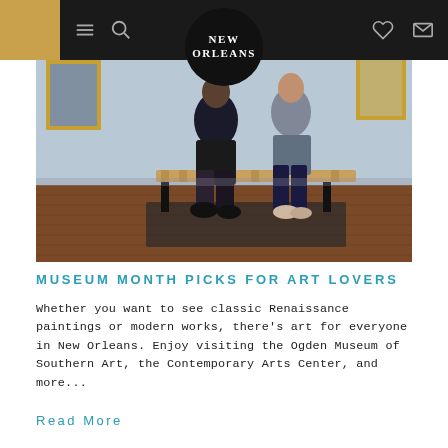NEW ORLEANS (navigation header with menu, search, heart, and mail icons)
[Figure (photo): Two people sitting on a wooden bench in a museum gallery with light blue walls and hardwood floors, viewed from the side. A New Orleans logo circle is overlaid at the top center of the image.]
MUSEUM MONTH PICKS FOR ART LOVERS
Whether you want to see classic Renaissance paintings or modern works, there's art for everyone in New Orleans. Enjoy visiting the Ogden Museum of Southern Art, the Contemporary Arts Center, and more...
Read More